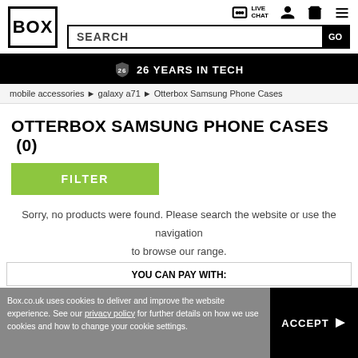BOX - LIVE CHAT - SEARCH - GO
26 YEARS IN TECH
mobile accessories ► galaxy a71 ► Otterbox Samsung Phone Cases
OTTERBOX SAMSUNG PHONE CASES (0)
FILTER
Sorry, no products were found. Please search the website or use the navigation to browse our range.
YOU CAN PAY WITH:
Box.co.uk uses cookies to deliver and improve the website experience. See our privacy policy for further details on how we use cookies and how to change your cookie settings.
ACCEPT